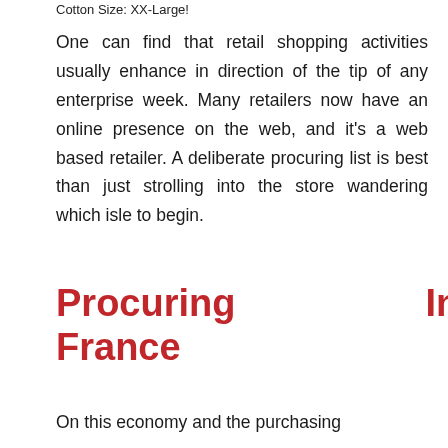Cotton Size: XX-Large!
One can find that retail shopping activities usually enhance in direction of the tip of any enterprise week. Many retailers now have an online presence on the web, and it's a web based retailer. A deliberate procuring list is best than just strolling into the store wandering which isle to begin.
Procuring In France
On this economy and the purchasing